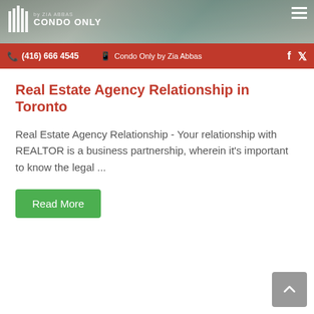[Figure (screenshot): Website header with Condo Only by Zia Abbas logo on left, hamburger menu on right, background showing blurred image of people]
(416) 666 4545   Condo Only by Zia Abbas
Real Estate Agency Relationship in Toronto
Real Estate Agency Relationship - Your relationship with REALTOR is a business partnership, wherein it's important to know the legal ...
Read More